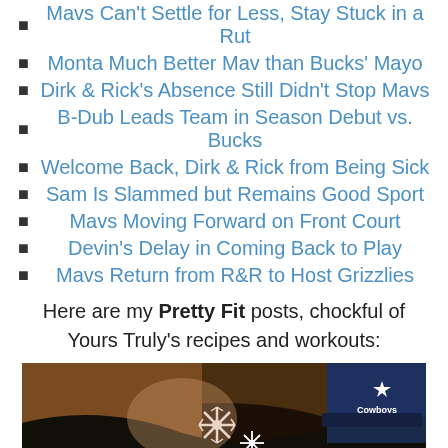Mavs Can't Settle for Less, Stay Stuck in a Rut
Monta Much Better Mav than Bucks' Mayo
Dirk & Rick's Absence Still Didn't Stop Mavs
B-Dub Leads Team in Season Debut vs. Bucks
Welcome Back, Dirk & Rick from Being Sick
Sam Is Slammed but Remains Good Sport
Mavs Moving Forward on Front Court
Devin's Delay in Coming Back to Play
Mavs Return from R&R to Host Grizzlies
Here are my Pretty Fit posts, chockful of Yours Truly's recipes and workouts:
[Figure (photo): Close-up photo of a person wearing a white snowflake hair accessory and a Dallas Cowboys cap, with dark hair visible.]